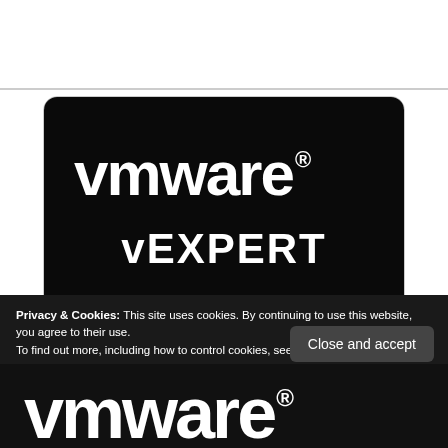[Figure (logo): VMware vEXPERT EUC 2021 badge. Black rounded rectangle badge with white VMware logo and 'vEXPERT' text on dark background, and 'EUC 2021' text on a grey banner at the bottom.]
Privacy & Cookies: This site uses cookies. By continuing to use this website, you agree to their use.
To find out more, including how to control cookies, see here: Cookie Policy
Close and accept
[Figure (logo): Partial VMware logo visible at bottom of page in white on black background.]